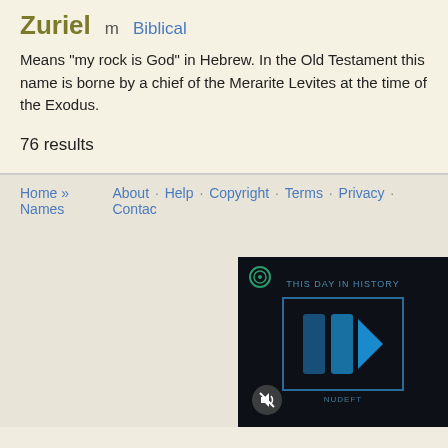Zuriel
m   Biblical
Means "my rock is God" in Hebrew. In the Old Testament this name is borne by a chief of the Merarite Levites at the time of the Exodus.
76 results
Home » Names   About · Help · Copyright · Terms · Privacy · Contact
[Figure (screenshot): Video widget showing 'THIS DAY IN HISTORY' with a dark background, blue play button logo (NUDEFT), and a mute icon at the bottom left.]